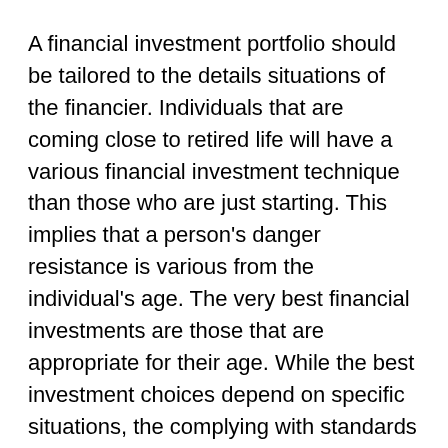A financial investment portfolio should be tailored to the details situations of the financier. Individuals that are coming close to retired life will have a various financial investment technique than those who are just starting. This implies that a person's danger resistance is various from the individual's age. The very best financial investments are those that are appropriate for their age. While the best investment choices depend on specific situations, the complying with standards can aid you choose which kinds of financial investments are right for you. So, what are several of the most essential things to seek in an investment portfolio?
An investment can be categorized as a public or